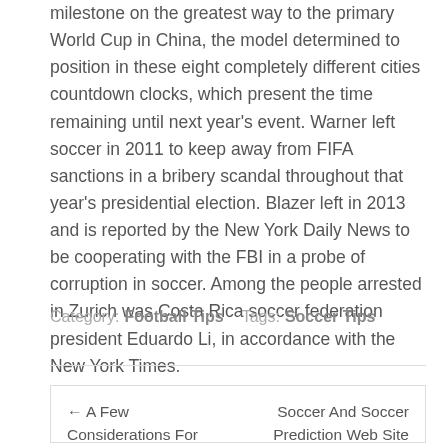milestone on the greatest way to the primary World Cup in China, the model determined to position in these eight completely different cities countdown clocks, which present the time remaining until next year's event. Warner left soccer in 2011 to keep away from FIFA sanctions in a bribery scandal throughout that year's presidential election. Blazer left in 2013 and is reported by the New York Daily News to be cooperating with the FBI in a probe of corruption in soccer. Among the people arrested in Zurich was Costa Rica soccer federation president Eduardo Li, in accordance with the New York Times.
Category: Football Tips   Tags: Soccer Tips
← A Few Considerations For Level-headed Secrets Of Lottery Games
Soccer And Soccer Prediction Web Site Free Suggestions →